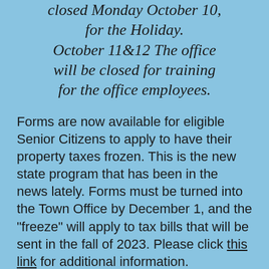closed Monday October 10, for the Holiday. October 11&12 The office will be closed for training for the office employees.
Forms are now available for eligible Senior Citizens to apply to have their property taxes frozen. This is the new state program that has been in the news lately. Forms must be turned into the Town Office by December 1, and the "freeze" will apply to tax bills that will be sent in the fall of 2023. Please click this link for additional information.